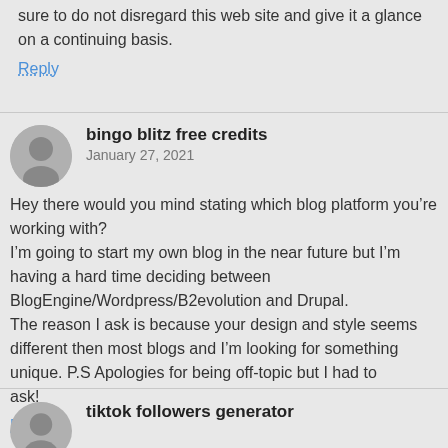sure to do not disregard this web site and give it a glance
on a continuing basis.
Reply
bingo blitz free credits
January 27, 2021
Hey there would you mind stating which blog platform you're working with? I'm going to start my own blog in the near future but I'm having a hard time deciding between BlogEngine/Wordpress/B2evolution and Drupal. The reason I ask is because your design and style seems different then most blogs and I'm looking for something unique. P.S Apologies for being off-topic but I had to ask!
Reply
tiktok followers generator